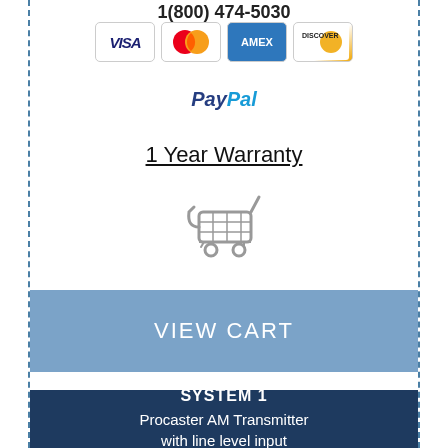1(800) 474-5030
[Figure (logo): Credit card logos: VISA, MasterCard, AMEX, Discover]
[Figure (logo): PayPal logo]
1 Year Warranty
[Figure (illustration): Shopping cart icon (gray)]
VIEW CART
SYSTEM 1
Procaster AM Transmitter
with line level input